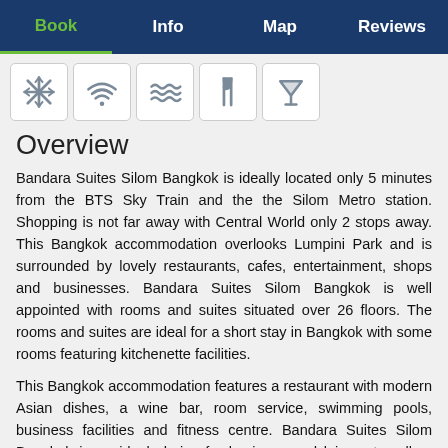Book  Info  Map  Reviews
[Figure (infographic): Row of five amenity icons: snowflake/AC, wifi, pool/waves, restaurant/fork-knife, bar/cocktail glass]
Overview
Bandara Suites Silom Bangkok is ideally located only 5 minutes from the BTS Sky Train and the the Silom Metro station. Shopping is not far away with Central World only 2 stops away. This Bangkok accommodation overlooks Lumpini Park and is surrounded by lovely restaurants, cafes, entertainment, shops and businesses. Bandara Suites Silom Bangkok is well appointed with rooms and suites situated over 26 floors. The rooms and suites are ideal for a short stay in Bangkok with some rooms featuring kitchenette facilities.
This Bangkok accommodation features a restaurant with modern Asian dishes, a wine bar, room service, swimming pools, business facilities and fitness centre. Bandara Suites Silom Bangkok is an ideal choice for business and leisure travellers due to its close proximity to the business and financial district and to public